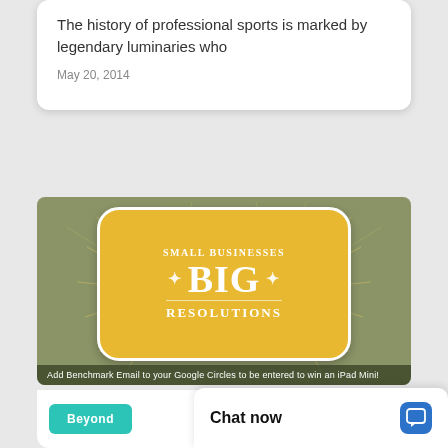The history of professional sports is marked by legendary luminaries who
May 20, 2014
[Figure (infographic): Small Businesses Big Resolutions infographic on olive green background with yellow rounded badge, decorative radiating lines, and text: Add Benchmark Email to your Google Circles to be entered to win an iPad Mini!]
Beyond
Chat now